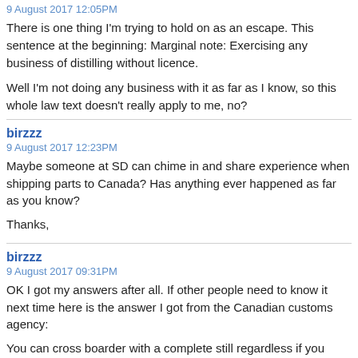9 August 2017 12:05PM
There is one thing I'm trying to hold on as an escape. This sentence at the beginning: Marginal note: Exercising any business of distilling without licence.
Well I'm not doing any business with it as far as I know, so this whole law text doesn't really apply to me, no?
birzzz
9 August 2017 12:23PM
Maybe someone at SD can chime in and share experience when shipping parts to Canada? Has anything ever happened as far as you know?
Thanks,
birzzz
9 August 2017 09:31PM
OK I got my answers after all. If other people need to know it next time here is the answer I got from the Canadian customs agency:
You can cross boarder with a complete still regardless if you have a license to distill or not. If you don't have a license you just can't use it by law. When you declare it at the border you will be filed as a still owner and you will certainly have a control visit by an officer one day to see if you are using it